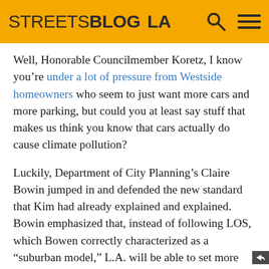STREETSBLOG LA
Well, Honorable Councilmember Koretz, I know you’re under a lot of pressure from Westside homeowners who seem to just want more cars and more parking, but could you at least say stuff that makes us think you know that cars actually do cause climate pollution?
Luckily, Department of City Planning’s Claire Bowin jumped in and defended the new standard that Kim had already explained and explained. Bowin emphasized that, instead of following LOS, which Bowen correctly characterized as a “suburban model,” L.A. will be able to set more appropriate standards for its urban communities.
5. LADOT Bikeways Has New Staff